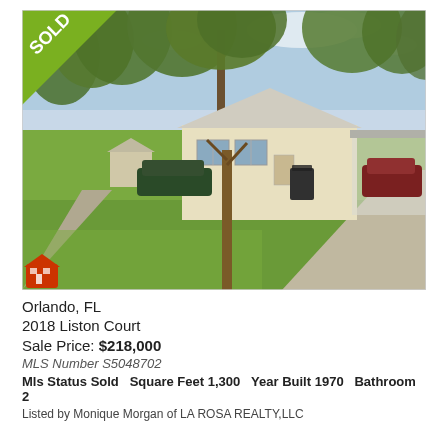[Figure (photo): Exterior photo of a single-story ranch-style house in Orlando, FL with yellow/cream siding, carport on right side, large trees in front yard, green grass, and a dark green car parked to the left. A 'SOLD' banner appears in the upper-left corner of the photo. A red house icon appears in the lower-left corner.]
Orlando, FL
2018 Liston Court
Sale Price: $218,000
MLS Number S5048702
Mls Status Sold   Square Feet 1,300   Year Built 1970   Bathroom 2
Listed by Monique Morgan of LA ROSA REALTY,LLC